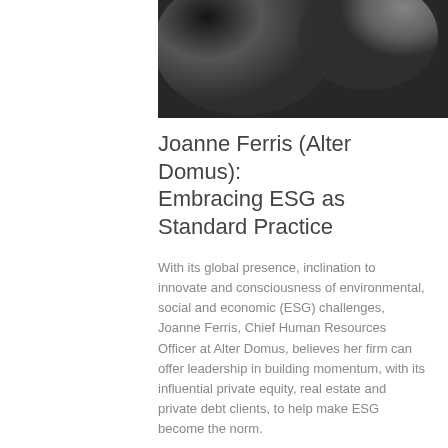[Figure (photo): Grayscale abstract/portrait photo at the top of the page]
Joanne Ferris (Alter Domus): Embracing ESG as Standard Practice
With its global presence, inclination to innovate and consciousness of environmental, social and economic (ESG) challenges, Joanne Ferris, Chief Human Resources Officer at Alter Domus, believes her firm can offer leadership in building momentum, with its influential private equity, real estate and private debt clients, to help make ESG become the norm.
Can you describe Alter Domus in a few words?